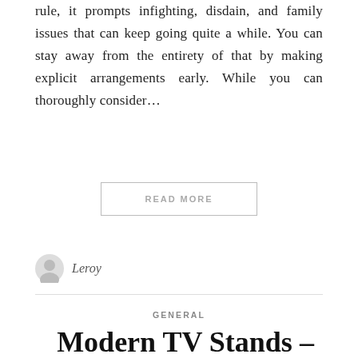rule, it prompts infighting, disdain, and family issues that can keep going quite a while. You can stay away from the entirety of that by making explicit arrangements early. While you can thoroughly consider...
READ MORE
Leroy
GENERAL
Modern TV Stands – The Alternative to Wall Mounting